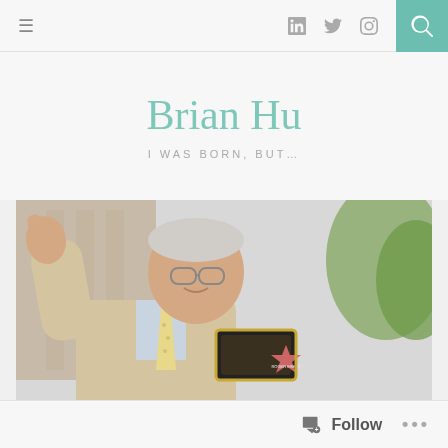≡  in  🐦  📷  🔍
Brian Hu
I WAS BORN, BUT...
[Figure (photo): Man in beige suit giving thumbs up, holding a Roger Ebert Hollywood Walk of Fame star plaque]
Follow  ...